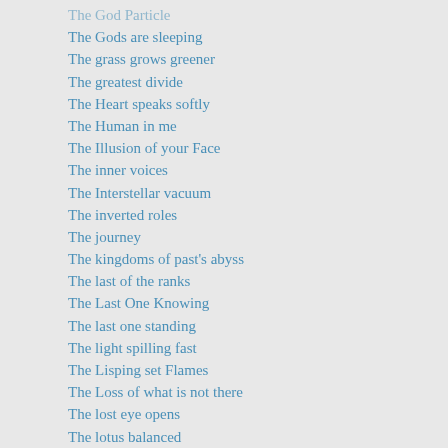The God Particle
The Gods are sleeping
The grass grows greener
The greatest divide
The Heart speaks softly
The Human in me
The Illusion of your Face
The inner voices
The Interstellar vacuum
The inverted roles
The journey
The kingdoms of past's abyss
The last of the ranks
The Last One Knowing
The last one standing
The light spilling fast
The Lisping set Flames
The Loss of what is not there
The lost eye opens
The lotus balanced
The Love grows within